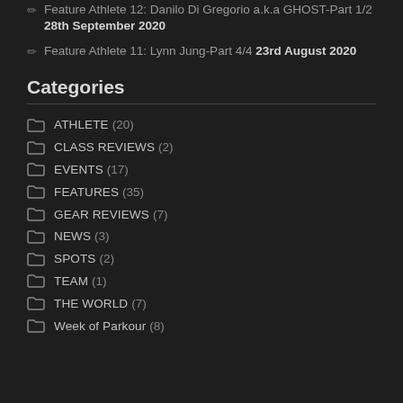Feature Athlete 12: Danilo Di Gregorio a.k.a GHOST-Part 1/2 28th September 2020
Feature Athlete 11: Lynn Jung-Part 4/4 23rd August 2020
Categories
ATHLETE (20)
CLASS REVIEWS (2)
EVENTS (17)
FEATURES (35)
GEAR REVIEWS (7)
NEWS (3)
SPOTS (2)
TEAM (1)
THE WORLD (7)
Week of Parkour (8)